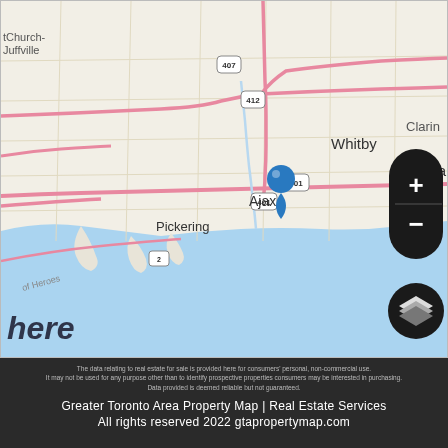[Figure (map): Map of the Greater Toronto Area showing Ajax, Pickering, Whitby, Oshawa, and Clarington areas near Lake Ontario. A blue location pin is placed in Ajax. Highway markers for 407, 412, 401 are visible. Pink lines indicate major highways. The map includes a scale bar showing 10 km and zoom +/- controls and a layer toggle button on the right side. 'here' watermark appears in lower left. Lake Ontario shown in blue.]
The data relating to real estate for sale is provided here for consumers' personal, non-commercial use. It may not be used for any purpose other than to identify prospective properties consumers may be interested in purchasing. Data provided is deemed reliable but not guaranteed.
Greater Toronto Area Property Map | Real Estate Services
All rights reserved 2022 gtapropertymap.com